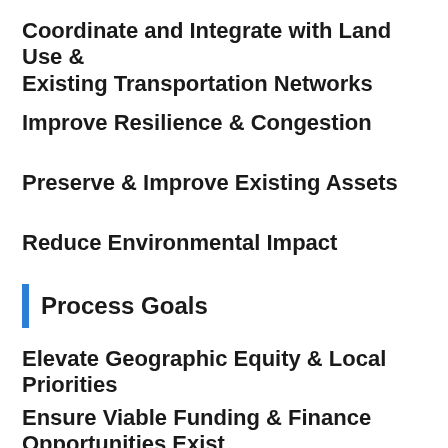Coordinate and Integrate with Land Use & Existing Transportation Networks
Improve Resilience & Congestion
Preserve & Improve Existing Assets
Reduce Environmental Impact
Process Goals
Elevate Geographic Equity & Local Priorities
Ensure Viable Funding & Finance Opportunities Exist